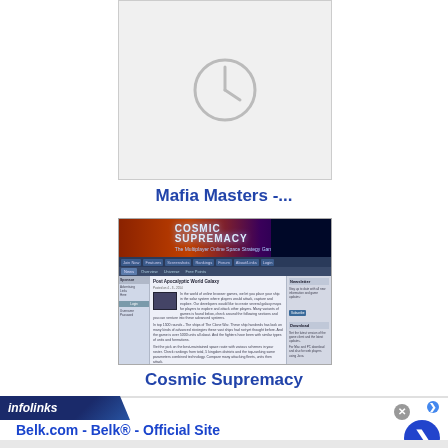[Figure (screenshot): Gray placeholder image with a clock/pie icon in the center, representing Mafia Masters game screenshot]
Mafia Masters -...
[Figure (screenshot): Screenshot of Cosmic Supremacy browser game website with dark space-themed header, navigation bar, news content and sidebar]
Cosmic Supremacy
[Figure (other): InfoLinks advertisement bar with Belk.com ad: 'Belk.com - Belk® - Official Site', 'Shop for clothing, handbags, jewelry, beauty, home & more!', 'www.belk.com', with close button and arrow navigation button]